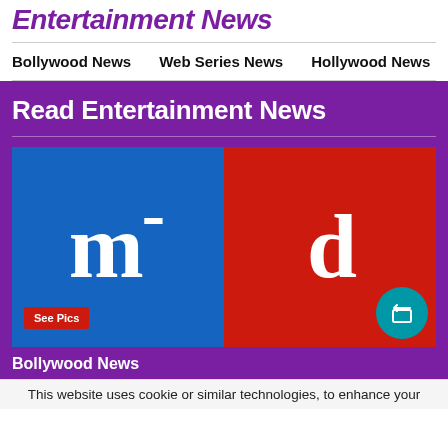Entertainment News
Bollywood News  Web Series News  Hollywood News  Television Ne
Read Entertainment News
[Figure (logo): m-d logo split blue and red background with large white serif letters m and d with a dash]
See Pics
Bollywood News
This website uses cookie or similar technologies, to enhance your